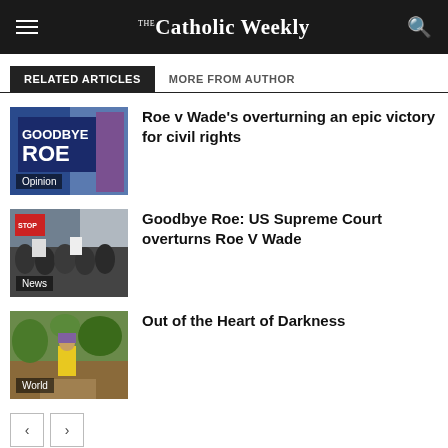The Catholic Weekly
RELATED ARTICLES | MORE FROM AUTHOR
[Figure (photo): Protest sign reading GOODBYE ROE with category label Opinion]
Roe v Wade's overturning an epic victory for civil rights
[Figure (photo): Crowd of protesters with signs at US Supreme Court, category label News]
Goodbye Roe: US Supreme Court overturns Roe V Wade
[Figure (photo): Child in yellow dress outdoors, category label World]
Out of the Heart of Darkness